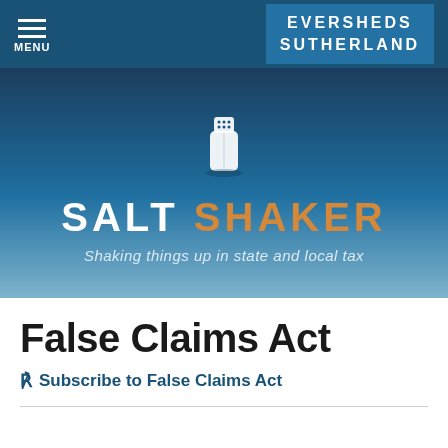MENU | EVERSHEDS SUTHERLAND
[Figure (logo): Salt Shaker logo banner with salt shaker icon, SALT SHAKER title in white and orange, subtitle: Shaking things up in state and local tax]
False Claims Act
Subscribe to False Claims Act